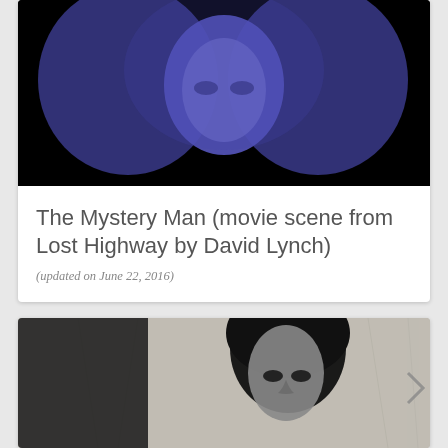[Figure (photo): A woman's face illuminated in blue/purple light against a black background, with voluminous light-colored hair.]
The Mystery Man (movie scene from Lost Highway by David Lynch)
(updated on June 22, 2016)
[Figure (photo): Black and white photograph of a man with dark curly hair and dramatic eye makeup, shown from the torso up against a textured background.]